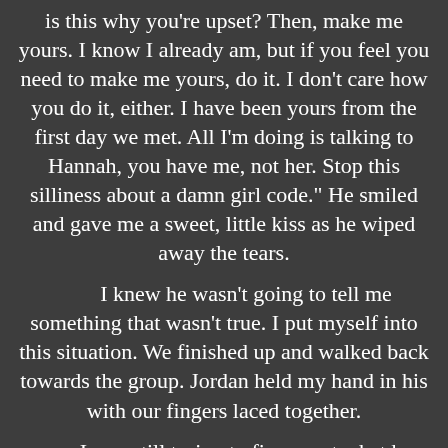is this why you're upset? Then, make me yours. I know I already am, but if you feel you need to make me yours, do it. I don't care how you do it, either. I have been yours from the first day we met. All I'm doing is talking to Hannah, you have me, not her. Stop this silliness about a damn girl code." He smiled and gave me a sweet, little kiss as he wiped away the tears.
	I knew he wasn't going to tell me something that wasn't true. I put myself into this situation. We finished up and walked back towards the group. Jordan held my hand in his with our fingers laced together.
	I was still trying to figure out what he said "make me yours." How do I do that? I was lost in thought, and he surprised me